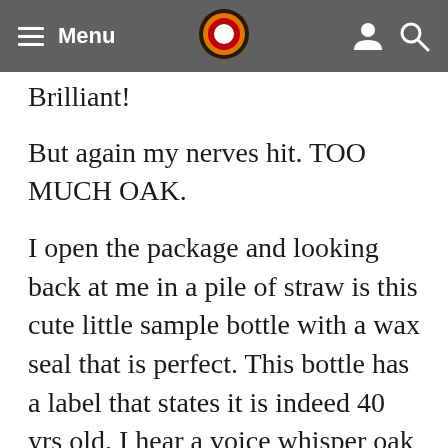whisky has arrived!!  Menu  [logo]  [user] [search]
Brilliant!
But again my nerves hit. TOO MUCH OAK.
I open the package and looking back at me in a pile of straw is this cute little sample bottle with a wax seal that is perfect. This bottle has a label that states it is indeed 40 yrs old. I hear a voice whisper oak in the back of my mind.
Tonight just 2 days later I crack open this